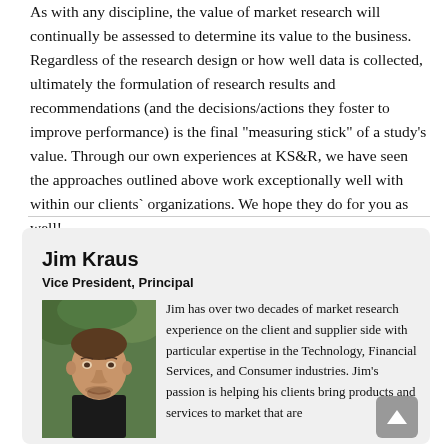As with any discipline, the value of market research will continually be assessed to determine its value to the business. Regardless of the research design or how well data is collected, ultimately the formulation of research results and recommendations (and the decisions/actions they foster to improve performance) is the final "measuring stick" of a study's value. Through our own experiences at KS&R, we have seen the approaches outlined above work exceptionally well with within our clients` organizations. We hope they do for you as well!
Jim Kraus
Vice President, Principal
Jim has over two decades of market research experience on the client and supplier side with particular expertise in the Technology, Financial Services, and Consumer industries. Jim's passion is helping his clients bring products and services to market that are